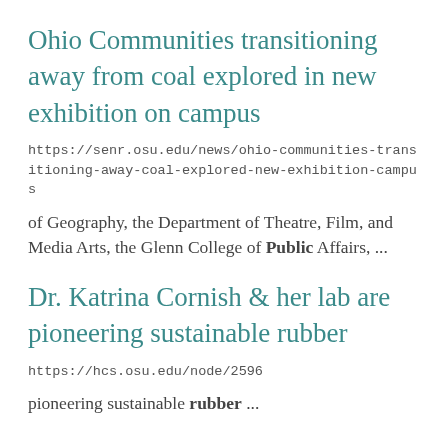Ohio Communities transitioning away from coal explored in new exhibition on campus
https://senr.osu.edu/news/ohio-communities-transitioning-away-coal-explored-new-exhibition-campus
of Geography, the Department of Theatre, Film, and Media Arts, the Glenn College of Public Affairs, ...
Dr. Katrina Cornish & her lab are pioneering sustainable rubber
https://hcs.osu.edu/node/2596
pioneering sustainable rubber ...